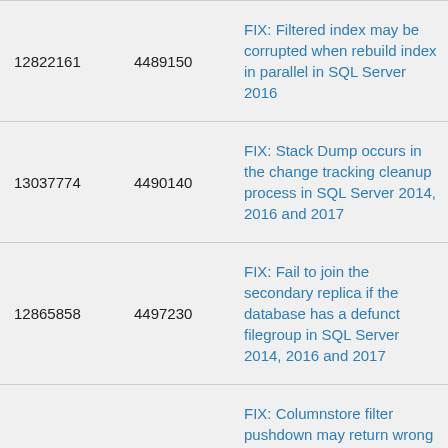| Bug # | KB Article | Description |
| --- | --- | --- |
| 12822161 | 4489150 | FIX: Filtered index may be corrupted when rebuild index in parallel in SQL Server 2016 |
| 13037774 | 4490140 | FIX: Stack Dump occurs in the change tracking cleanup process in SQL Server 2014, 2016 and 2017 |
| 12865858 | 4497230 | FIX: Fail to join the secondary replica if the database has a defunct filegroup in SQL Server 2014, 2016 and 2017 |
| 12865862 | 4497701 | FIX: Columnstore filter pushdown may return wrong results when there is an overflow in expressions in SQL Server 2014, 2016 and 2017 |
| 12866599 | 4500403 | FIX: Tlog grows quickly when you run auto cleanup procedure in SQL Server 2014, 2016 and 2017 |